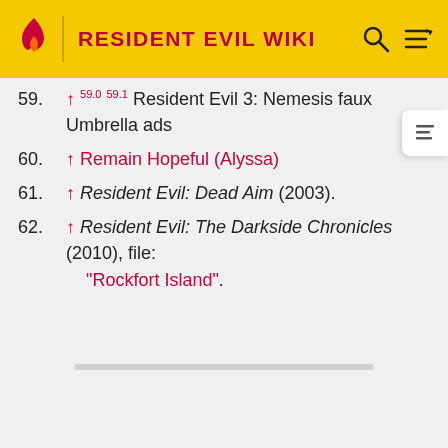RESIDENT EVIL WIKI
59. ↑ 59.0 59.1 Resident Evil 3: Nemesis faux Umbrella ads
60. ↑ Remain Hopeful (Alyssa)
61. ↑ Resident Evil: Dead Aim (2003).
62. ↑ Resident Evil: The Darkside Chronicles (2010), file: "Rockfort Island".